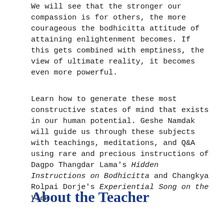We will see that the stronger our compassion is for others, the more courageous the bodhicitta attitude of attaining enlightenment becomes. If this gets combined with emptiness, the view of ultimate reality, it becomes even more powerful.
Learn how to generate these most constructive states of mind that exists in our human potential. Geshe Namdak will guide us through these subjects with teachings, meditations, and Q&A using rare and precious instructions of Dagpo Thangdar Lama's Hidden Instructions on Bodhicitta and Changkya Rolpai Dorje's Experiential Song on the View.
About the Teacher